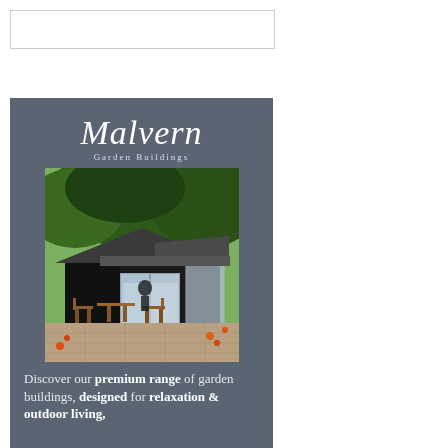[Figure (other): Empty white rectangle with thin border — placeholder box at top left]
[Figure (illustration): Malvern Garden Buildings advertisement. Dark slate-grey background with the Malvern cursive logo at top, a photo of a dark timber garden building/cabin with glass doors, wooden outdoor furniture, and lush green trees in the background. Below the photo is advertising text.]
Discover our premium range of garden buildings, designed for relaxation & outdoor living,